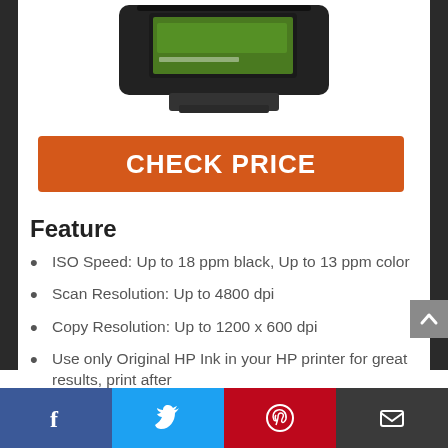[Figure (photo): Partial view of a black electronic device (likely a printer or scanner) with a small screen showing a green interface, photographed from above on a white background.]
CHECK PRICE
Feature
ISO Speed: Up to 18 ppm black, Up to 13 ppm color
Scan Resolution: Up to 4800 dpi
Copy Resolution: Up to 1200 x 600 dpi
Use only Original HP Ink in your HP printer for great results, print after